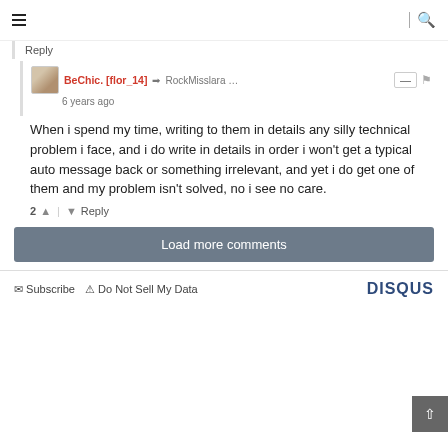≡  |  🔍
Reply
BeChic. [flor_14] → RockMisslara …
6 years ago
When i spend my time, writing to them in details any silly technical problem i face, and i do write in details in order i won't get a typical auto message back or something irrelevant, and yet i do get one of them and my problem isn't solved, no i see no care.
2 ▲ | ▼ Reply
Load more comments
✉ Subscribe  ⚠ Do Not Sell My Data
DISQUS